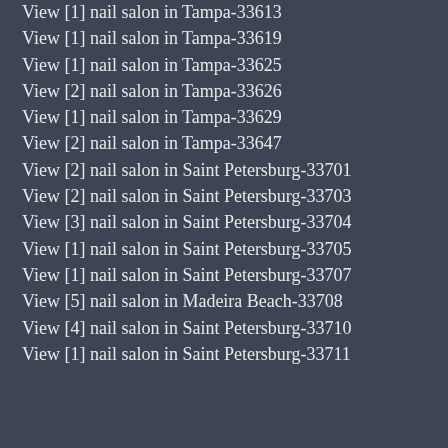View [1] nail salon in Tampa-33613
View [1] nail salon in Tampa-33619
View [1] nail salon in Tampa-33625
View [2] nail salon in Tampa-33626
View [1] nail salon in Tampa-33629
View [2] nail salon in Tampa-33647
View [2] nail salon in Saint Petersburg-33701
View [2] nail salon in Saint Petersburg-33703
View [3] nail salon in Saint Petersburg-33704
View [1] nail salon in Saint Petersburg-33705
View [1] nail salon in Saint Petersburg-33707
View [5] nail salon in Madeira Beach-33708
View [4] nail salon in Saint Petersburg-33710
View [1] nail salon in Saint Petersburg-33711